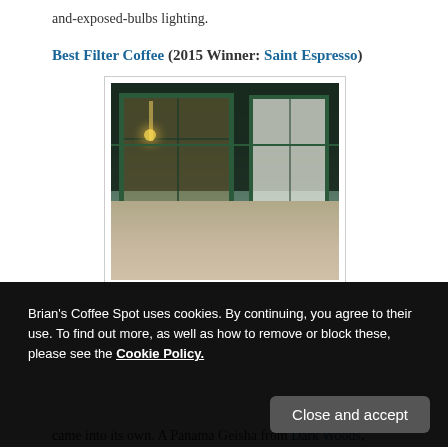and-exposed-bulbs lighting.
Best Filter Coffee (2015 Winner: Saint Espresso)
[Figure (photo): Exterior storefront of Saint Espresso coffee shop with dark green facade, large windows with grid panes, pendant lighting visible inside, and a white door on the right side.]
Brian's Coffee Spot uses cookies. By continuing, you agree to their use. To find out more, as well as how to remove or block these, please see the Cookie Policy.
came into its own. A Panama Geisha from Dark Woods,